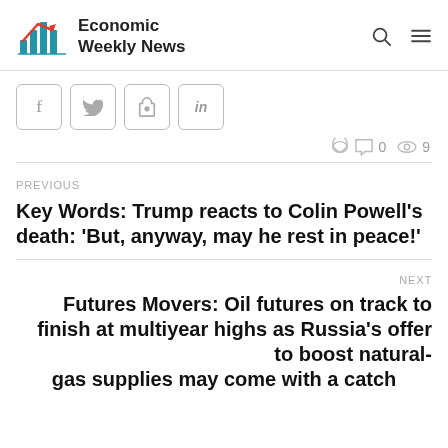Economic Weekly News
[Figure (logo): Economic Weekly News logo with blue bar chart and red upward arrow]
f  twitter  pinterest  in
0  9
PREVIOUS
Key Words: Trump reacts to Colin Powell's death: 'But, anyway, may he rest in peace!'
NEXT
Futures Movers: Oil futures on track to finish at multiyear highs as Russia's offer to boost natural-gas supplies may come with a catch